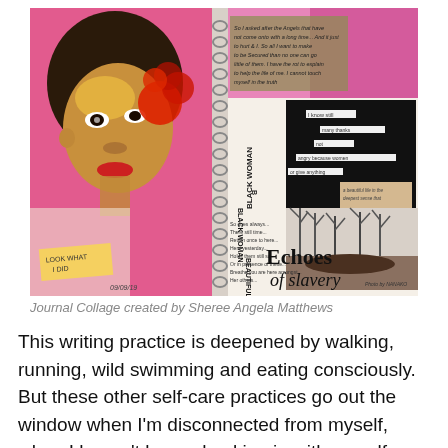[Figure (illustration): Art journal collage spread showing a painted portrait of a Black woman with a red flower in her hair on the left page, and a mixed-media collage on the right page featuring handwritten text, blackout poetry, a nature photograph of bare trees and a figure in darkness, with the text 'Echoes of slavery' in large letters at the bottom right]
Journal Collage created by Sheree Angela Matthews
This writing practice is deepened by walking, running, wild swimming and eating consciously. But these other self-care practices go out the window when I'm disconnected from myself, when I haven't been checking in with myself